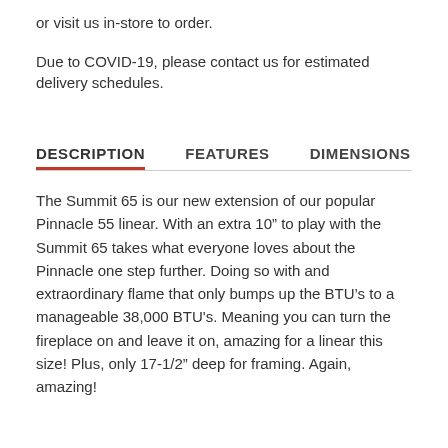or visit us in-store to order.
Due to COVID-19, please contact us for estimated delivery schedules.
DESCRIPTION   FEATURES   DIMENSIONS
The Summit 65 is our new extension of our popular Pinnacle 55 linear. With an extra 10” to play with the Summit 65 takes what everyone loves about the Pinnacle one step further. Doing so with and extraordinary flame that only bumps up the BTU’s to a manageable 38,000 BTU's. Meaning you can turn the fireplace on and leave it on, amazing for a linear this size! Plus, only 17-1/2” deep for framing. Again, amazing!